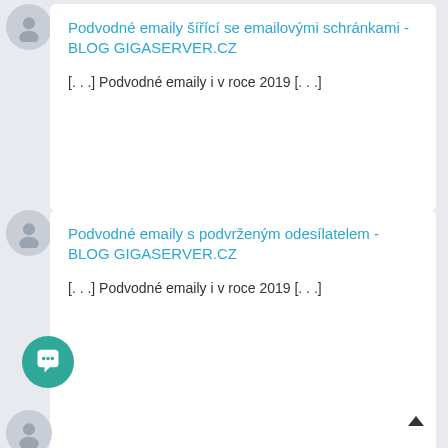[Figure (illustration): User avatar circle (gray) for first card]
Podvodné emaily šířící se emailovými schránkami - BLOG GIGASERVER.CZ
[...] Podvodné emaily i v roce 2019 [...]
[Figure (illustration): User avatar circle (gray) for second card]
Podvodné emaily s podvrženým odesílatelem - BLOG GIGASERVER.CZ
[...] Podvodné emaily i v roce 2019 [...]
[Figure (illustration): Teal chat button with speech bubble icon]
[Figure (illustration): User avatar circle (gray) partial at bottom]
[Figure (illustration): Scroll to top arrow button]